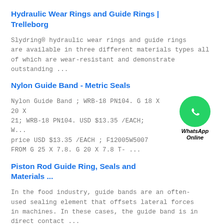Hydraulic Wear Rings and Guide Rings | Trelleborg
Slydring® hydraulic wear rings and guide rings are available in three different materials types all of which are wear-resistant and demonstrate outstanding ...
Nylon Guide Band - Metric Seals
[Figure (logo): WhatsApp Online green circle logo with phone icon and text 'WhatsApp Online' below]
Nylon Guide Band ; WRB-18 PN104. G 18 X 20 X 21; WRB-18 PN104. USD $13.35 /EACH; W... price USD $13.35 /EACH ; F12005W5007 FROM G 25 X 7.8. G 20 X 7.8 T- ...
Piston Rod Guide Ring, Seals and Materials ...
In the food industry, guide bands are an often-used sealing element that offsets lateral forces in machines. In these cases, the guide band is in direct contact ...